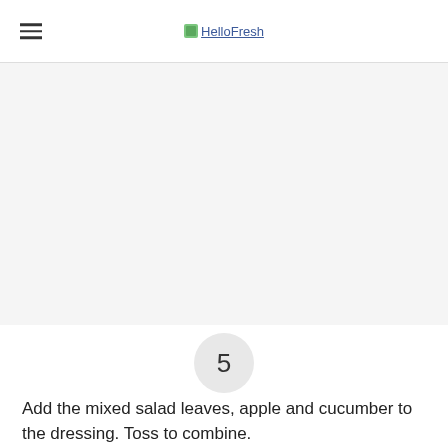HelloFresh
[Figure (photo): Large food/recipe image area (blank/loading)]
5
Add the mixed salad leaves, apple and cucumber to the dressing. Toss to combine.
[Figure (infographic): Social sharing icons: email, Facebook, Twitter, Messenger, Pinterest]